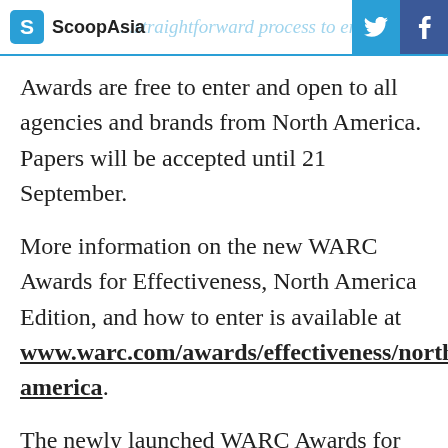ScoopAsia — a straightforward process to en...
Awards are free to enter and open to all agencies and brands from North America. Papers will be accepted until 21 September.
More information on the new WARC Awards for Effectiveness, North America Edition, and how to enter is available at www.warc.com/awards/effectiveness/north-america.
The newly launched WARC Awards for...